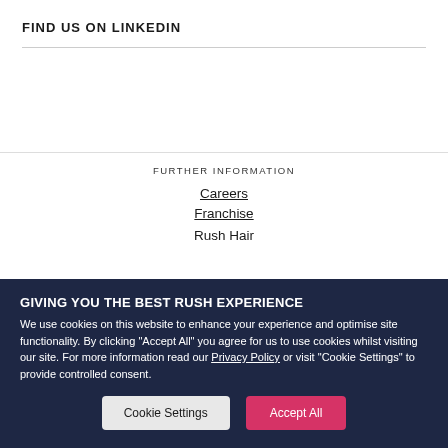FIND US ON LINKEDIN
FURTHER INFORMATION
Careers
Franchise
Rush Hair
GIVING YOU THE BEST RUSH EXPERIENCE
We use cookies on this website to enhance your experience and optimise site functionality. By clicking "Accept All" you agree for us to use cookies whilst visiting our site. For more information read our Privacy Policy or visit "Cookie Settings" to provide controlled consent.
Cookie Settings | Accept All